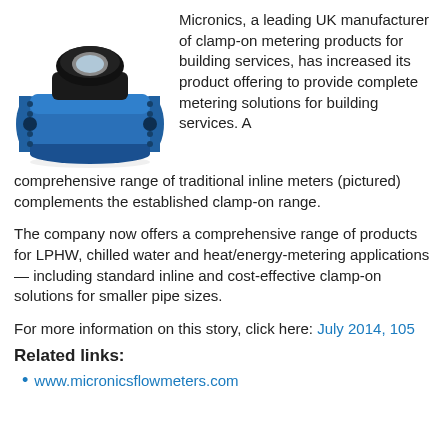[Figure (photo): A blue inline water meter with flanged connections and a black top housing, photographed on a white background.]
Micronics, a leading UK manufacturer of clamp-on metering products for building services, has increased its product offering to provide complete metering solutions for building services. A comprehensive range of traditional inline meters (pictured) complements the established clamp-on range.
The company now offers a comprehensive range of products for LPHW, chilled water and heat/energy-metering applications — including standard inline and cost-effective clamp-on solutions for smaller pipe sizes.
For more information on this story, click here: July 2014, 105
Related links:
www.micronicsflowmeters.com